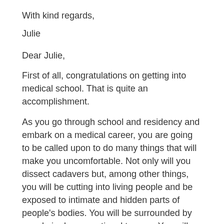With kind regards,
Julie
Dear Julie,
First of all, congratulations on getting into medical school. That is quite an accomplishment.
As you go through school and residency and embark on a medical career, you are going to be called upon to do many things that will make you uncomfortable. Not only will you dissect cadavers but, among other things, you will be cutting into living people and be exposed to intimate and hidden parts of people's bodies. You will be surrounded by people in deep emotional trauma. You will sometimes make mistakes that have the most serious consequences as well as blessedly do just the right thing at the right time with amazing results.